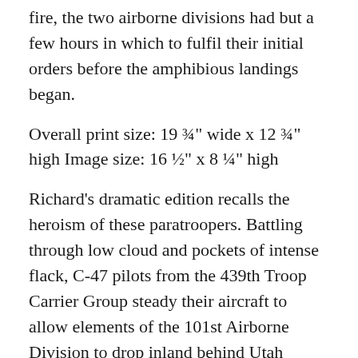fire, the two airborne divisions had but a few hours in which to fulfil their initial orders before the amphibious landings began.
Overall print size: 19 ¾" wide x 12 ¾" high Image size: 16 ½" x 8 ¼" high
Richard's dramatic edition recalls the heroism of these paratroopers. Battling through low cloud and pockets of intense flack, C-47 pilots from the 439th Troop Carrier Group steady their aircraft to allow elements of the 101st Airborne Division to drop inland behind Utah Beach in the early hours of D-Day.
The night will be long and dangerous but the paratroopers' forthcoming resilience in the face of adversity will become the stuff of legend. Within a few frenetic hours the causeways exiting Utah will be secured, allowing thousands of infantry and hundreds of tanks to pour